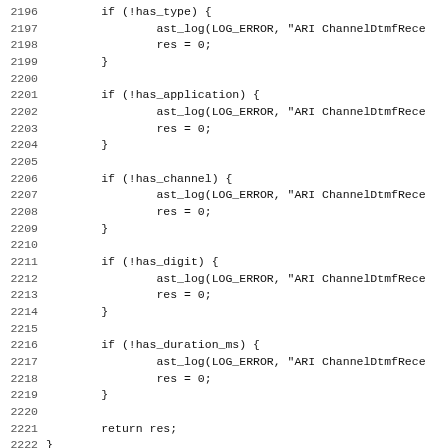[Figure (other): Source code snippet lines 2196-2227 showing C code with conditional checks for has_type, has_application, has_channel, has_digit, has_duration_ms, followed by return res; and a function definition for ast_ari_validate_channel_dtmf_received_fr]